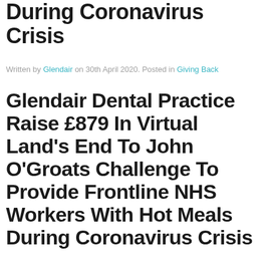During Coronavirus Crisis
Written by Glendair on 30th April 2020. Posted in Giving Back
Glendair Dental Practice Raise £879 In Virtual Land's End To John O'Groats Challenge To Provide Frontline NHS Workers With Hot Meals During Coronavirus Crisis